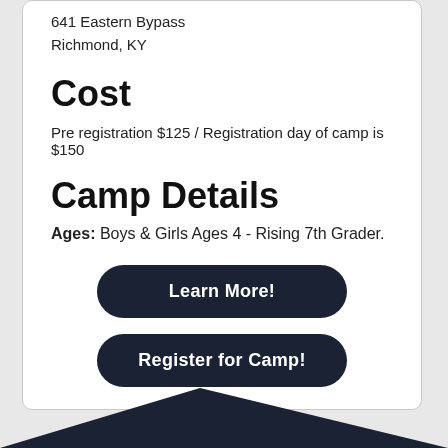641 Eastern Bypass
Richmond, KY
Cost
Pre registration $125 / Registration day of camp is $150
Camp Details
Ages: Boys & Girls Ages 4 - Rising 7th Grader.
Learn More!
Register for Camp!